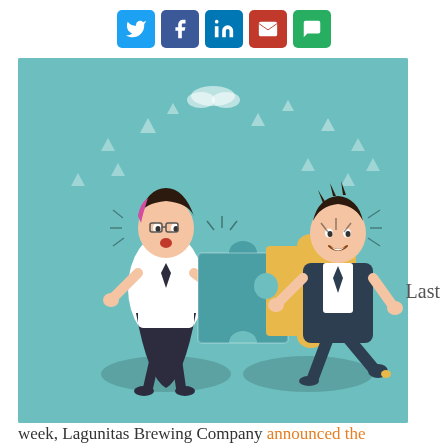[Figure (other): Social media sharing icons: Twitter (blue bird), Facebook (blue f), LinkedIn (blue in), Email (red envelope), Chat/Message (green speech bubble)]
[Figure (illustration): Cartoon illustration of two business people connecting puzzle pieces on a teal background with decorative clouds/triangles. A woman on the left holds a teal puzzle piece and a man on the right holds an orange/yellow puzzle piece, fitting them together.]
Last
week, Lagunitas Brewing Company announced the